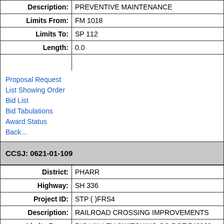| Field | Value |
| --- | --- |
| Description: | PREVENTIVE MAINTENANCE |
| Limits From: | FM 1018 |
| Limits To: | SP 112 |
| Length: | 0.0 |
Proposal Request
List Showing Order
Bid List
Bid Tabulations
Award Status
Back...
CCSJ: 0621-01-109
| Field | Value |
| --- | --- |
| District: | PHARR |
| Highway: | SH 336 |
| Project ID: | STP ( )FRS4 |
| Description: | RAILROAD CROSSING IMPROVEMENTS |
| Limits From: | RIO VALLEY SWITCHING CO,DOT 746093 |
| Limits To: | S 19TH ST |